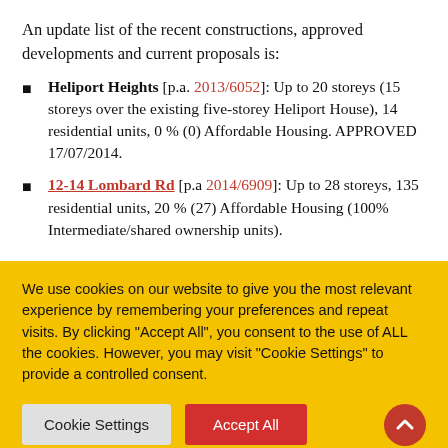An update list of the recent constructions, approved developments and current proposals is:
Heliport Heights [p.a. 2013/6052]: Up to 20 storeys (15 storeys over the existing five-storey Heliport House), 14 residential units, 0 % (0) Affordable Housing. APPROVED 17/07/2014.
12-14 Lombard Rd [p.a 2014/6909]: Up to 28 storeys, 135 residential units, 20 % (27) Affordable Housing (100% Intermediate/shared ownership units).
We use cookies on our website to give you the most relevant experience by remembering your preferences and repeat visits. By clicking "Accept All", you consent to the use of ALL the cookies. However, you may visit "Cookie Settings" to provide a controlled consent.